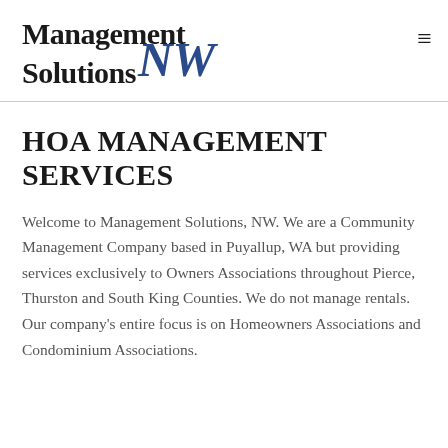[Figure (logo): Management Solutions NW logo with bold black serif text 'Management Solutions' and stylized italic blue 'NW' script]
HOA MANAGEMENT SERVICES
Welcome to Management Solutions, NW. We are a Community Management Company based in Puyallup, WA but providing services exclusively to Owners Associations throughout Pierce, Thurston and South King Counties. We do not manage rentals. Our company's entire focus is on Homeowners Associations and Condominium Associations.